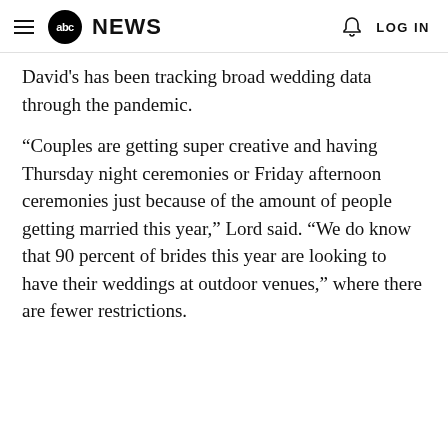abc NEWS  LOG IN
David's has been tracking broad wedding data through the pandemic.
“Couples are getting super creative and having Thursday night ceremonies or Friday afternoon ceremonies just because of the amount of people getting married this year,” Lord said. “We do know that 90 percent of brides this year are looking to have their weddings at outdoor venues,” where there are fewer restrictions.